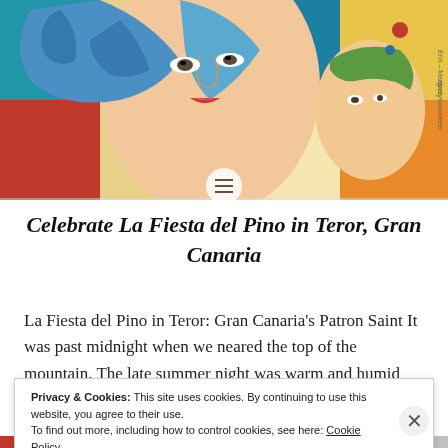[Figure (illustration): Colorful illustrated artwork showing two women's faces in a mosaic/stained-glass style with blue, red, yellow, green, and orange tiled sections. Text on right side reads 'Erin – Margret, alwayswanderer'.]
Celebrate La Fiesta del Pino in Teror, Gran Canaria
La Fiesta del Pino in Teror: Gran Canaria's Patron Saint It was past midnight when we neared the top of the mountain. The late summer night was warm and humid
Privacy & Cookies: This site uses cookies. By continuing to use this website, you agree to their use.
To find out more, including how to control cookies, see here: Cookie Policy
Close and accept